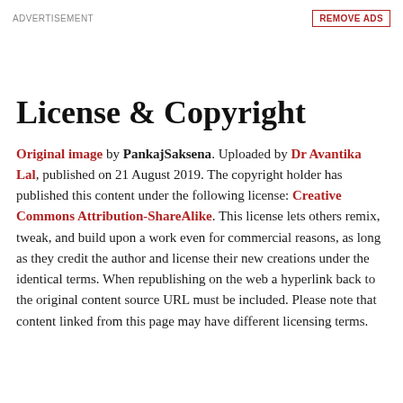ADVERTISEMENT
REMOVE ADS
License & Copyright
Original image by PankajSaksena. Uploaded by Dr Avantika Lal, published on 21 August 2019. The copyright holder has published this content under the following license: Creative Commons Attribution-ShareAlike. This license lets others remix, tweak, and build upon a work even for commercial reasons, as long as they credit the author and license their new creations under the identical terms. When republishing on the web a hyperlink back to the original content source URL must be included. Please note that content linked from this page may have different licensing terms.